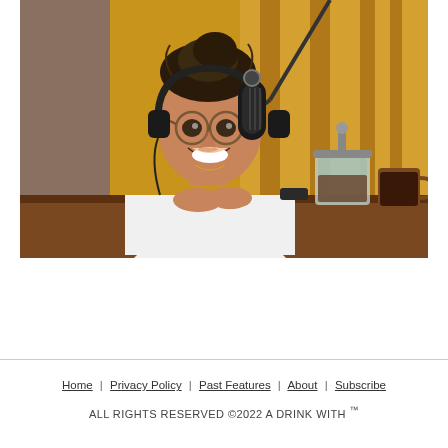[Figure (photo): A woman wearing headphones at a podcast recording microphone, smiling, in a studio setting with golden/yellow curtains in the background and coffee/tea items on the table in front of her.]
Home | Privacy Policy | Past Features | About | Subscribe
ALL RIGHTS RESERVED ©2022 A DRINK WITH ™